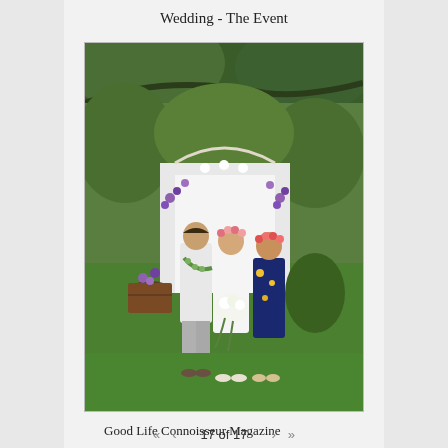Wedding - The Event
[Figure (photo): Outdoor wedding ceremony photo showing three people standing in front of a white floral arch with purple and white flowers, large green tropical trees in the background, lush green lawn. A man in white shirt with a lei on the left, a bride in white dress holding a bouquet in the center, and a woman in a navy floral dress on the right.]
Good Life Connoisseur Magazine
«  ‹     17 of 17     ›  »